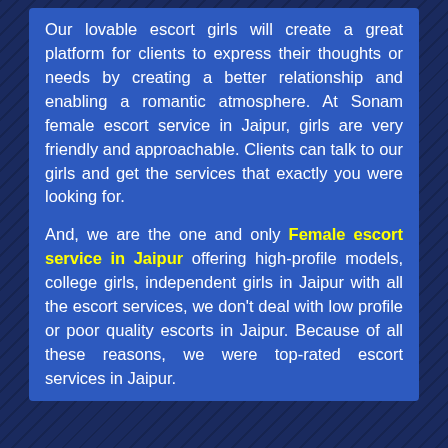Our lovable escort girls will create a great platform for clients to express their thoughts or needs by creating a better relationship and enabling a romantic atmosphere. At Sonam female escort service in Jaipur, girls are very friendly and approachable. Clients can talk to our girls and get the services that exactly you were looking for.
And, we are the one and only Female escort service in Jaipur offering high-profile models, college girls, independent girls in Jaipur with all the escort services, we don't deal with low profile or poor quality escorts in Jaipur. Because of all these reasons, we were top-rated escort services in Jaipur.